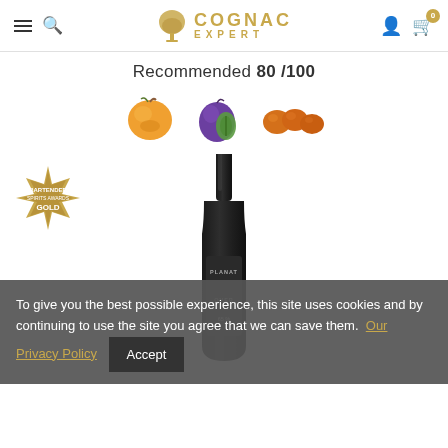Cognac Expert — navigation header with hamburger menu, search, logo, user icon, cart (0)
Recommended 80 /100
[Figure (photo): Three fruit images in a row: apricot halves, plum halves, dried apricots]
[Figure (photo): Bartender Spirits Awards GOLD badge medallion]
[Figure (photo): Dark bottle of Planat Over 65% cognac]
To give you the best possible experience, this site uses cookies and by continuing to use the site you agree that we can save them. Our Privacy Policy  Accept